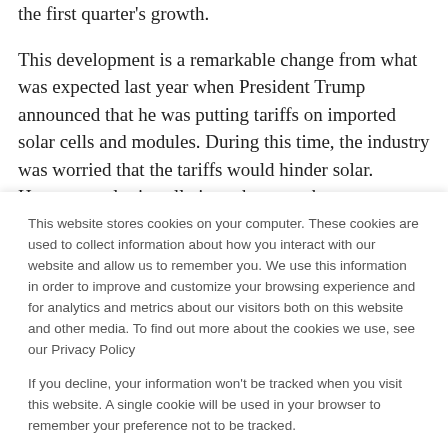the first quarter's growth.

This development is a remarkable change from what was expected last year when President Trump announced that he was putting tariffs on imported solar cells and modules. During this time, the industry was worried that the tariffs would hinder solar. However, solar installations shot past the 2 million mark this year instead.
This website stores cookies on your computer. These cookies are used to collect information about how you interact with our website and allow us to remember you. We use this information in order to improve and customize your browsing experience and for analytics and metrics about our visitors both on this website and other media. To find out more about the cookies we use, see our Privacy Policy

If you decline, your information won't be tracked when you visit this website. A single cookie will be used in your browser to remember your preference not to be tracked.